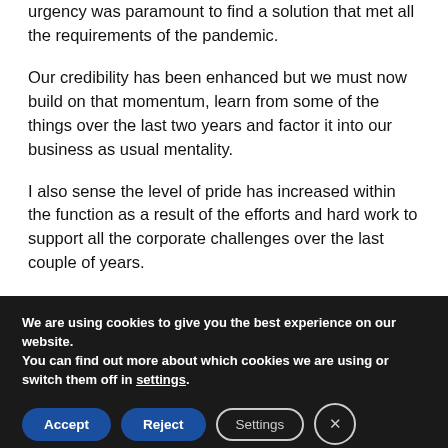urgency was paramount to find a solution that met all the requirements of the pandemic.
Our credibility has been enhanced but we must now build on that momentum, learn from some of the things over the last two years and factor it into our business as usual mentality.
I also sense the level of pride has increased within the function as a result of the efforts and hard work to support all the corporate challenges over the last couple of years.
We are using cookies to give you the best experience on our website.
You can find out more about which cookies we are using or switch them off in settings.